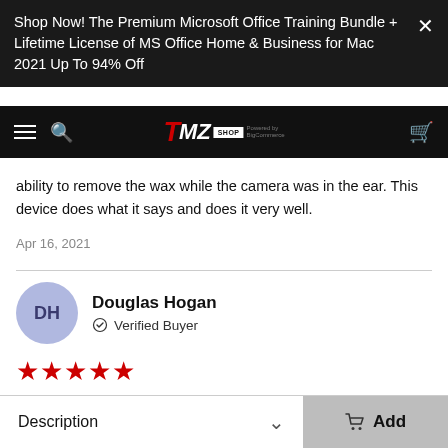Shop Now! The Premium Microsoft Office Training Bundle + Lifetime License of MS Office Home & Business for Mac 2021 Up To 94% Off
[Figure (screenshot): TMZ Shop navigation bar with hamburger menu, search icon, TMZ Shop logo, and cart icon on dark background]
ability to remove the wax while the camera was in the ear. This device does what it says and does it very well.
Apr 16, 2021
Douglas Hogan
Verified Buyer
★★★★★
Quality product, good variety of attachments in base holder witch it is very convenient easy app and works great
Description
Add